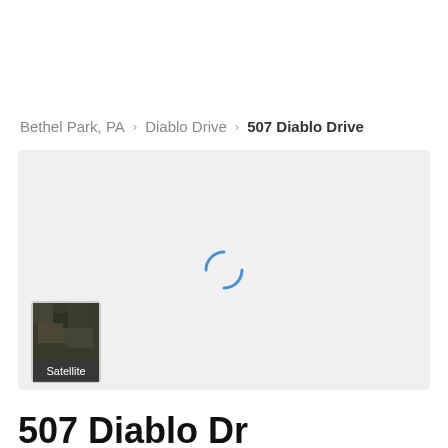Bethel Park, PA › Diablo Drive › 507 Diablo Drive
[Figure (map): Loading map view with satellite toggle button in bottom left corner showing aerial imagery thumbnail labeled 'Satellite']
507 Diablo Dr